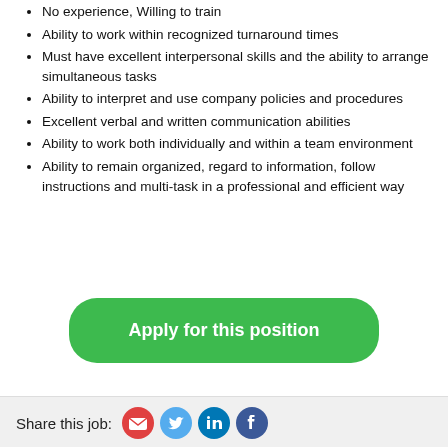No experience, Willing to train
Ability to work within recognized turnaround times
Must have excellent interpersonal skills and the ability to arrange simultaneous tasks
Ability to interpret and use company policies and procedures
Excellent verbal and written communication abilities
Ability to work both individually and within a team environment
Ability to remain organized, regard to information, follow instructions and multi-task in a professional and efficient way
Apply for this position
Share this job: